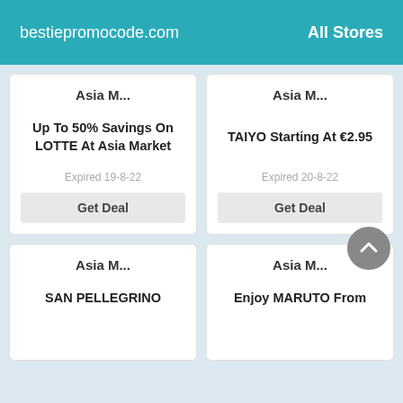bestiepromocode.com   All Stores
Asia M...
Up To 50% Savings On LOTTE At Asia Market
Expired 19-8-22
Get Deal
Asia M...
TAIYO Starting At €2.95
Expired 20-8-22
Get Deal
Asia M...
SAN PELLEGRINO
Asia M...
Enjoy MARUTO From